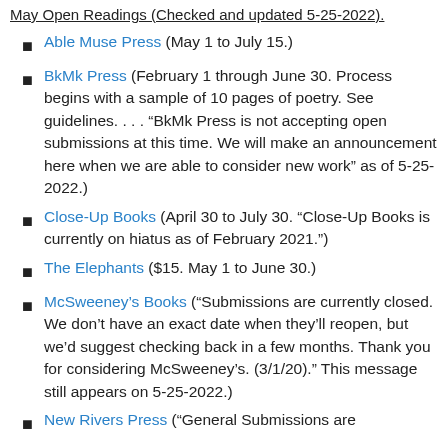May Open Readings (Checked and updated 5-25-2022).
Able Muse Press (May 1 to July 15.)
BkMk Press (February 1 through June 30. Process begins with a sample of 10 pages of poetry. See guidelines. . . . “BkMk Press is not accepting open submissions at this time. We will make an announcement here when we are able to consider new work” as of 5-25-2022.)
Close-Up Books (April 30 to July 30. “Close-Up Books is currently on hiatus as of February 2021.”)
The Elephants ($15. May 1 to June 30.)
McSweeney’s Books (“Submissions are currently closed. We don’t have an exact date when they’ll reopen, but we’d suggest checking back in a few months. Thank you for considering McSweeney’s. (3/1/20).” This message still appears on 5-25-2022.)
New Rivers Press (“General Submissions are